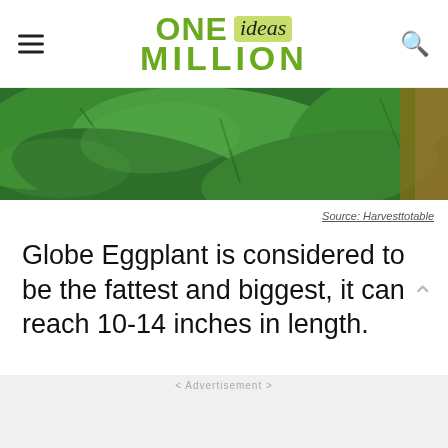ONE ideas MILLION
[Figure (photo): Close-up photo of large green leaves, likely eggplant/aubergine foliage with some brown/earth tones visible on the right edge.]
Source: Harvesttotable
Globe Eggplant is considered to be the fattest and biggest, it can reach 10-14 inches in length.
< Advertisement >